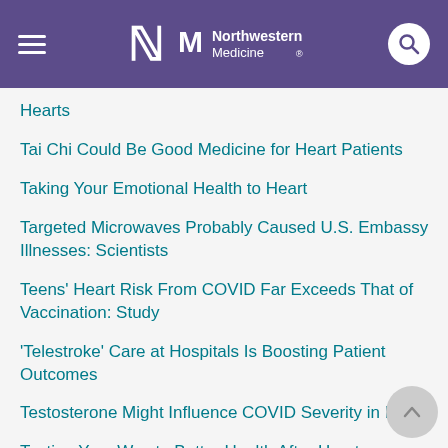Northwestern Medicine
Hearts
Tai Chi Could Be Good Medicine for Heart Patients
Taking Your Emotional Health to Heart
Targeted Microwaves Probably Caused U.S. Embassy Illnesses: Scientists
Teens' Heart Risk From COVID Far Exceeds That of Vaccination: Study
'Telestroke' Care at Hospitals Is Boosting Patient Outcomes
Testosterone Might Influence COVID Severity in Men
Texting Your Way to Better Health After Heart